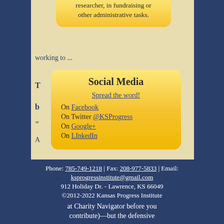researcher, in fundraising or other administrative tasks.
working to ...
Social Media
Spread the word!
On Facebook
On Twitter @KSProgress
On Google+
On LInkedIn
David Burress
The Wounded Warrior scandal has
Phone: 785-749-1218 | Fax: 208-977-5833 | Email: ksprogressinstitute@gmail.com
912 Holiday Dr. - Lawrence, KS 66049
©2012-2022 Kansas Progress Institute
at Charity Navigator before you contribute)—but the defensive